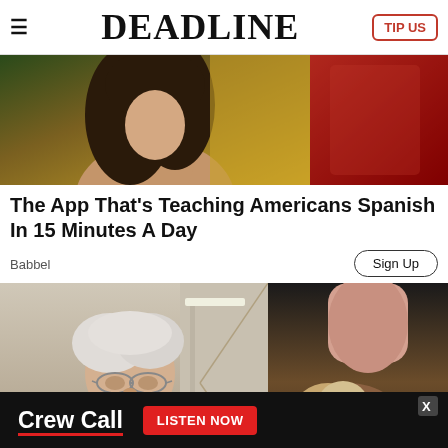DEADLINE | TIP US
[Figure (photo): Advertisement banner showing woman with dark hair and a red/gold background split image]
The App That's Teaching Americans Spanish In 15 Minutes A Day
Babbel
Sign Up
[Figure (photo): Two side-by-side images: left shows an older man with glasses in a corridor; right shows close-up of food items]
[Figure (other): Advertisement bar: Crew Call - LISTEN NOW]